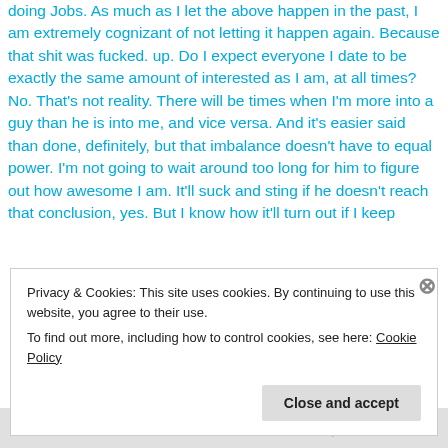doing Jobs. As much as I let the above happen in the past, I am extremely cognizant of not letting it happen again. Because that shit was fucked. up. Do I expect everyone I date to be exactly the same amount of interested as I am, at all times? No. That's not reality. There will be times when I'm more into a guy than he is into me, and vice versa. And it's easier said than done, definitely, but that imbalance doesn't have to equal power. I'm not going to wait around too long for him to figure out how awesome I am. It'll suck and sting if he doesn't reach that conclusion, yes. But I know how it'll turn out if I keep
Privacy & Cookies: This site uses cookies. By continuing to use this website, you agree to their use.
To find out more, including how to control cookies, see here: Cookie Policy
Close and accept
Follow